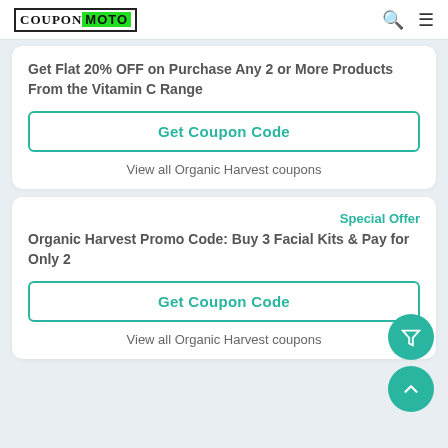CouponMoto
Get Flat 20% OFF on Purchase Any 2 or More Products From the Vitamin C Range
Get Coupon Code
View all Organic Harvest coupons
Special Offer
Organic Harvest Promo Code: Buy 3 Facial Kits & Pay for Only 2
Get Coupon Code
View all Organic Harvest coupons